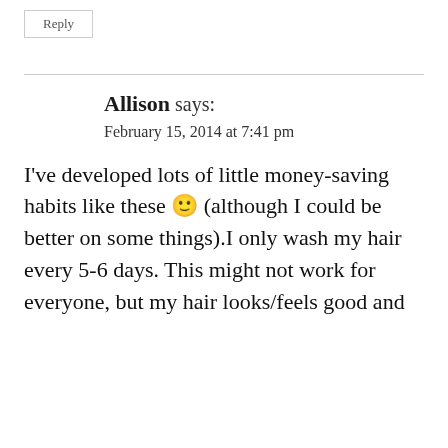Reply
Allison says:
February 15, 2014 at 7:41 pm
I've developed lots of little money-saving habits like these 🙂 (although I could be better on some things).I only wash my hair every 5-6 days. This might not work for everyone, but my hair looks/feels good and